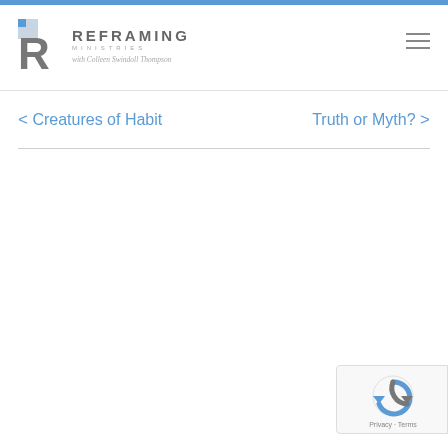Reframing Ministries with Colleen Swindoll Thompson
< Creatures of Habit
Truth or Myth? >
[Figure (logo): reCAPTCHA badge with Privacy and Terms links]